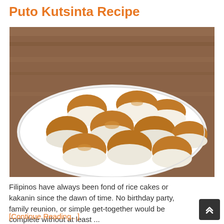Puto Kutsinta Recipe
[Figure (photo): Photo of Puto Kutsinta — Filipino rice cakes arranged on a white plate, showing alternating layers of white (puto) and brown (kutsinta) steamed cakes, displayed on a wooden surface background.]
Filipinos have always been fond of rice cakes or kakanin since the dawn of time. No birthday party, family reunion, or simple get-together would be complete without at least ...
[Continue Reading...]